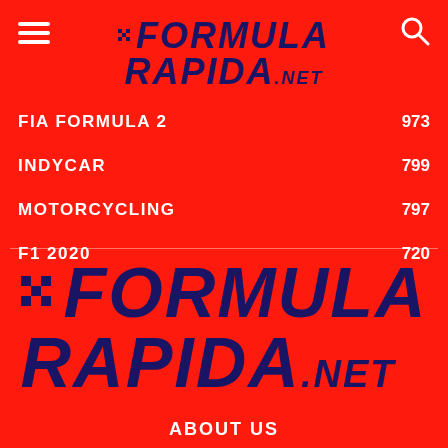FORMULA RAPIDA.NET
FIA FORMULA 2   973
INDYCAR   799
MOTORCYCLING   797
F1 2020   720
[Figure (logo): Formula Rapida .net logo in large dark navy blue text on red background]
ABOUT US